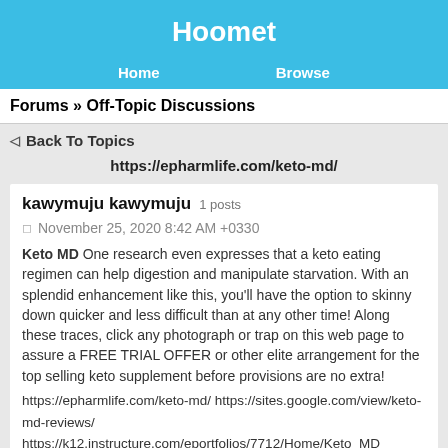Hoomet
Home  Browse
Forums » Off-Topic Discussions
◁  Back To Topics
https://epharmlife.com/keto-md/
kawymuju kawymuju  1 posts
November 25, 2020 8:42 AM +0330
Keto MD One research even expresses that a keto eating regimen can help digestion and manipulate starvation. With an splendid enhancement like this, you'll have the option to skinny down quicker and less difficult than at any other time! Along these traces, click any photograph or trap on this web page to assure a FREE TRIAL OFFER or other elite arrangement for the top selling keto supplement before provisions are no extra!
https://epharmlife.com/keto-md/
https://sites.google.com/view/keto-md-reviews/
https://k12.instructure.com/eportfolios/7712/Home/Keto_MD
mt boan  2260 posts